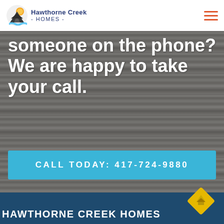[Figure (logo): Hawthorne Creek Homes logo with sun/mountain/water icon and company name]
someone on the phone? We are happy to take your call.
CALL TODAY: 417-724-9880
HAWTHORNE CREEK HOMES